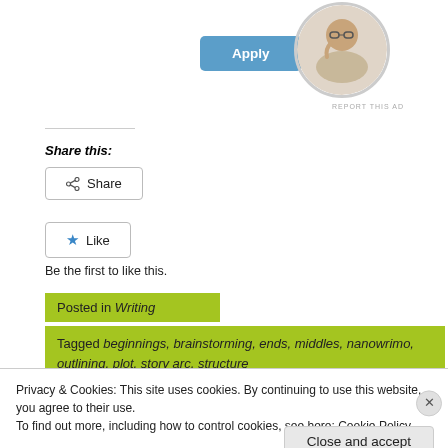[Figure (other): Blue Apply button]
[Figure (photo): Circular profile photo of a man with glasses sitting at a desk, thinking]
REPORT THIS AD
Share this:
[Figure (other): Share button with share icon]
[Figure (other): Like button with blue star icon]
Be the first to like this.
Posted in Writing
Tagged beginnings, brainstorming, ends, middles, nanowrimo, outlining, plot, story arc, structure
Privacy & Cookies: This site uses cookies. By continuing to use this website, you agree to their use.
To find out more, including how to control cookies, see here: Cookie Policy
Close and accept